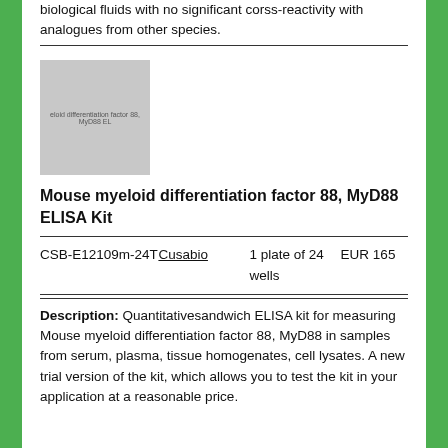biological fluids with no significant corss-reactivity with analogues from other species.
[Figure (photo): Product image placeholder for Mouse myeloid differentiation factor 88, MyD88 ELISA Kit]
Mouse myeloid differentiation factor 88, MyD88 ELISA Kit
| Code | Brand | Size | Price |
| --- | --- | --- | --- |
| CSB-E12109m-24T | Cusabio | 1 plate of 24 wells | EUR 165 |
Description: Quantitativesandwich ELISA kit for measuring Mouse myeloid differentiation factor 88, MyD88 in samples from serum, plasma, tissue homogenates, cell lysates. A new trial version of the kit, which allows you to test the kit in your application at a reasonable price.